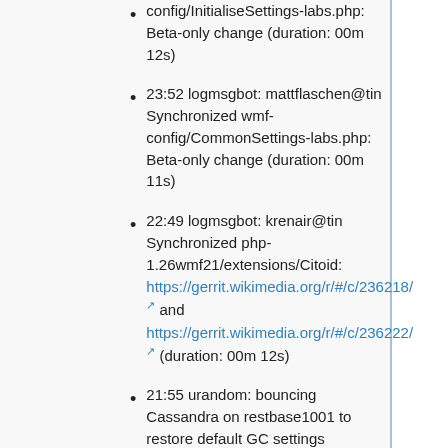config/InitialiseSettings-labs.php: Beta-only change (duration: 00m 12s)
23:52 logmsgbot: mattflaschen@tin Synchronized wmf-config/CommonSettings-labs.php: Beta-only change (duration: 00m 11s)
22:49 logmsgbot: krenair@tin Synchronized php-1.26wmf21/extensions/Citoid: https://gerrit.wikimedia.org/r/#/c/236218/ and https://gerrit.wikimedia.org/r/#/c/236222/ (duration: 00m 12s)
21:55 urandom: bouncing Cassandra on restbase1001 to restore default GC settings
18:36 logmsgbot: krenair@tin Synchronized